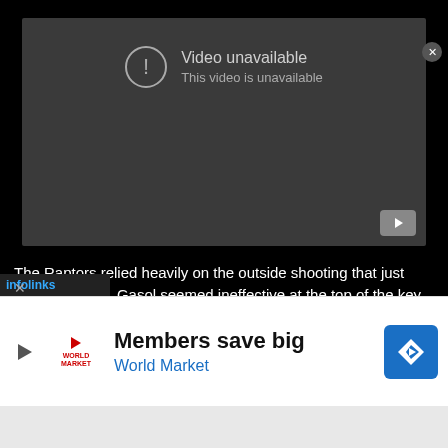[Figure (screenshot): YouTube embedded video player showing 'Video unavailable' error message with exclamation circle icon and YouTube play button in bottom right corner on dark gray background.]
The Raptors relied heavily on the outside shooting that just wasn't landing. Gasol seemed ineffective at the top of the key missing shot after shot. Furthermore, it was Vanvleet that would push for the momentum to change in the last four minutes of the game. Even more, it seems as though the Warriors couldn't catch a break, with Klay Thompson will a [hamstring that would ultimately not allow him to
[Figure (screenshot): Advertisement banner for World Market: 'Members save big / World Market' with play button, World Market logo, and blue diamond arrow icon.]